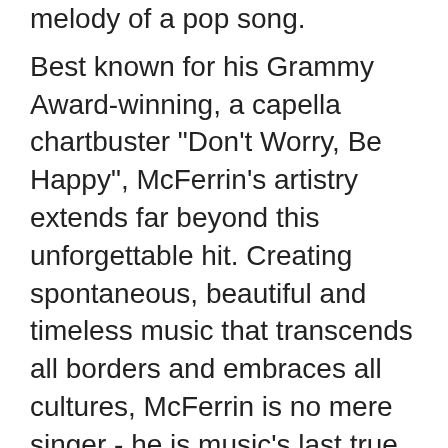melody of a pop song.
Best known for his Grammy Award-winning, a capella chartbuster "Don't Worry, Be Happy", McFerrin's artistry extends far beyond this unforgettable hit. Creating spontaneous, beautiful and timeless music that transcends all borders and embraces all cultures, McFerrin is no mere singer - he is music's last true Renaissance man.
GIVE THE GIFT OF ASTONISHMENT Save 20% with code FWSP20* Tickets: vmari.com, 401-421-ARTS (2787) *Offer valid12/1/11 through 12/18/11, some restrictions apply
Made possible in part with support from: Brown University Creative Arts Council, Carter Family Charitable Trust, City of Providence, Providence Tourism Council, Rhode Island Foundation, TACO / The White Family Foundation and Textron.
The presentation of Bill T. Jones / Arnie Zane Dance